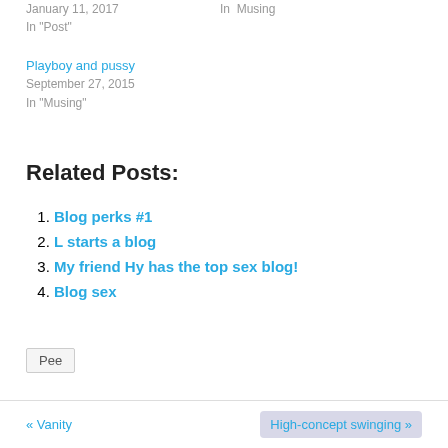January 11, 2017
In "Post"
In  Musing
Playboy and pussy
September 27, 2015
In "Musing"
Related Posts:
Blog perks #1
L starts a blog
My friend Hy has the top sex blog!
Blog sex
Pee
« Vanity    High-concept swinging »